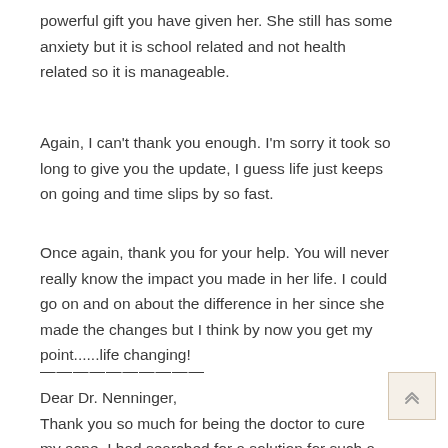powerful gift you have given her. She still has some anxiety but it is school related and not health related so it is manageable.
Again, I can't thank you enough. I'm sorry it took so long to give you the update, I guess life just keeps on going and time slips by so fast.
Once again, thank you for your help. You will never really know the impact you made in her life. I could go on and on about the difference in her since she made the changes but I think by now you get my point......life changing!
————————————
Dear Dr. Nenninger,
Thank you so much for being the doctor to cure my acne. I had searched for a solution for such a